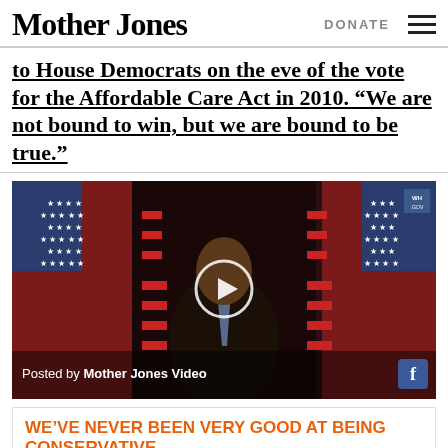Mother Jones | DONATE
to House Democrats on the eve of the vote for the Affordable Care Act in 2010. “We are not bound to win, but we are bound to be true.”
[Figure (screenshot): Video thumbnail showing a man speaking at a podium with American flags in the background. Play button overlay. Footer reads 'Posted by Mother Jones Video'. Facebook icon in bottom right. WH.GOV badge in top right.]
WE’VE NEVER BEEN VERY GOOD AT BEING CONSERVATIVE